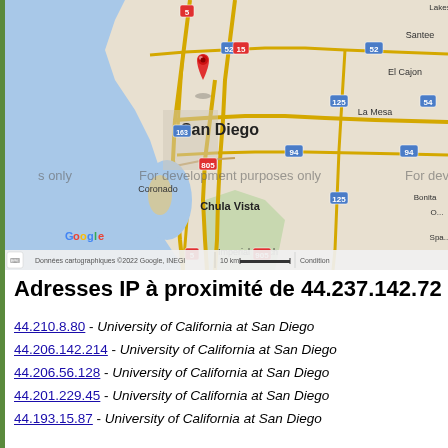[Figure (map): Google Maps screenshot showing San Diego area with a red location pin marker. Shows roads, cities including San Diego, Coronado, Chula Vista, Imperial Beach, La Mesa, El Cajon, Santee, Bonita. Watermarks read 'For development purposes only'. Map attribution: Données cartographiques ©2022 Google, INEGI, 10 km scale bar, Conditions.]
Adresses IP à proximité de 44.237.142.72
44.210.8.80 - University of California at San Diego
44.206.142.214 - University of California at San Diego
44.206.56.128 - University of California at San Diego
44.201.229.45 - University of California at San Diego
44.193.15.87 - University of California at San Diego